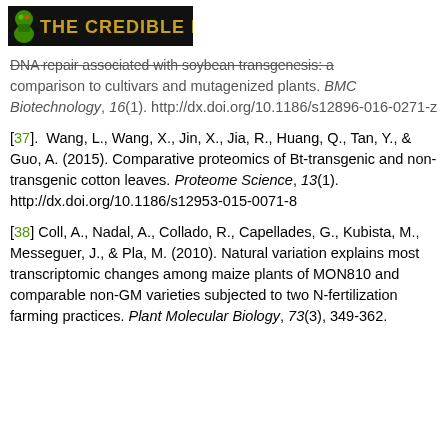[Figure (logo): The Credible Hulk logo — dark banner with green hulk icon and gold/green stylized text reading THE CREDIBLE HULK]
DNA repair associated with soybean transgenesis: a comparison to cultivars and mutagenized plants. BMC Biotechnology, 16(1). http://dx.doi.org/10.1186/s12896-016-0271-z
[37]. Wang, L., Wang, X., Jin, X., Jia, R., Huang, Q., Tan, Y., & Guo, A. (2015). Comparative proteomics of Bt-transgenic and non-transgenic cotton leaves. Proteome Science, 13(1). http://dx.doi.org/10.1186/s12953-015-0071-8
[38] Coll, A., Nadal, A., Collado, R., Capellades, G., Kubista, M., Messeguer, J., & Pla, M. (2010). Natural variation explains most transcriptomic changes among maize plants of MON810 and comparable non-GM varieties subjected to two N-fertilization farming practices. Plant Molecular Biology, 73(3), 349-362.